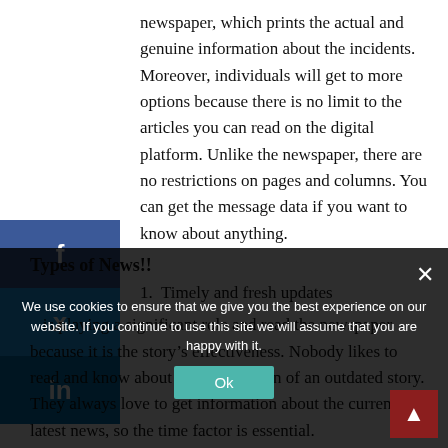newspaper, which prints the actual and genuine information about the incidents. Moreover, individuals will get to more options because there is no limit to the articles you can read on the digital platform. Unlike the newspaper, there are no restrictions on pages and columns. You can get the message data if you want to know about anything.
Types of News!!
1. Timely and fresh updates
is playing a significant role and read the newspaper because it is the story's effectiveness. Nobody likes to read and know about the information of an outdated story. They always love to get information about the current and latest news, so the time factor is essential.
2. Proximity